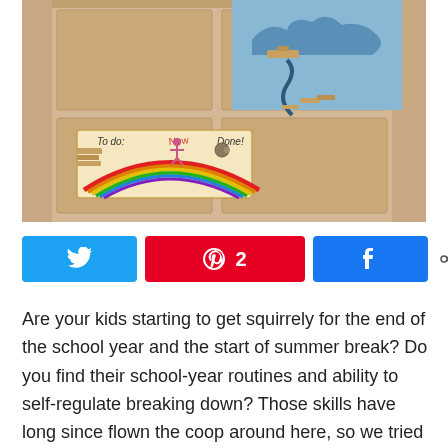[Figure (photo): A door decorated with children's artwork including a rainbow drawing with 'To do', 'Now', and 'Done' sections, clothespins clipped to various papers, and a blue painted cloud picture.]
[Figure (infographic): Social share bar with Twitter button, Pinterest button showing 2 shares, Facebook button, and a share icon with '2 SHARES' count.]
Are your kids starting to get squirrely for the end of the school year and the start of summer break? Do you find their school-year routines and ability to self-regulate breaking down? Those skills have long since flown the coop around here, so we tried something new this morning: a brand-new set of clothespin chore